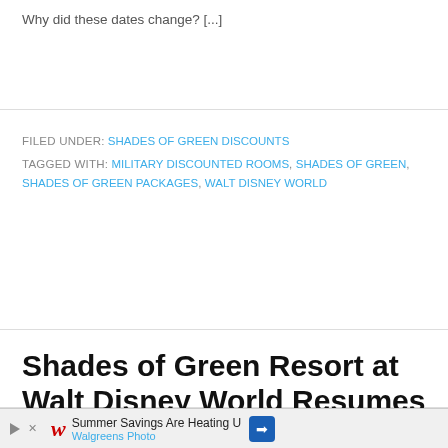Why did these dates change? [...]
FILED UNDER: SHADES OF GREEN DISCOUNTS
TAGGED WITH: MILITARY DISCOUNTED ROOMS, SHADES OF GREEN, SHADES OF GREEN PACKAGES, WALT DISNEY WORLD
Shades of Green Resort at Walt Disney World Resumes Discounts for 2022
[Figure (other): Advertisement banner: Summer Savings Are Heating U — Walgreens Photo, with Walgreens logo and blue arrow icon]